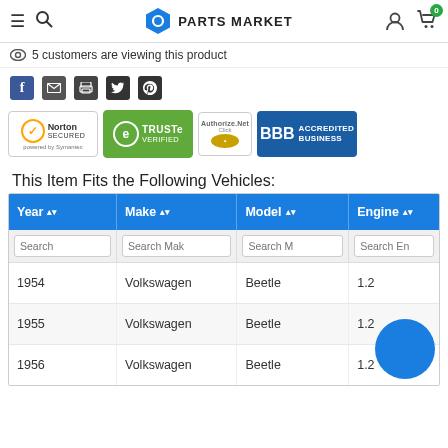PARTS MARKET — Navigation header with hamburger menu, search, logo, user and cart icons
5 customers are viewing this product
[Figure (other): Social sharing icons: Facebook, Email, Print, Twitter, Pinterest]
[Figure (other): Trust badges: Norton Secured powered by Symantec, TRUSTe Verified, Authorize.Net, BBB Accredited Business]
This Item Fits the Following Vehicles:
| Year | Make | Model | Engine |
| --- | --- | --- | --- |
| 1954 | Volkswagen | Beetle | 1.2 |
| 1955 | Volkswagen | Beetle | 1.2 |
| 1956 | Volkswagen | Beetle | 1.2 |